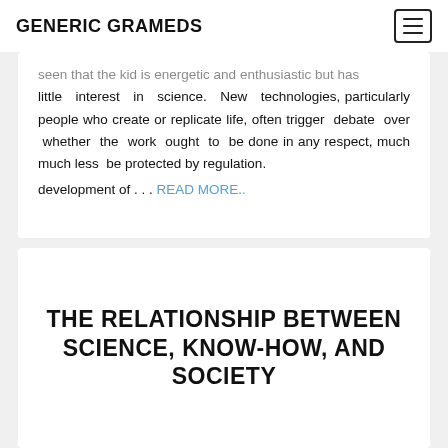GENERIC GRAMEDS
seen that the kid is energetic and enthusiastic but has little interest in science. New technologies, particularly people who create or replicate life, often trigger debate over whether the work ought to be done in any respect, much much less be protected by regulation.
development of . . . READ MORE..
THE RELATIONSHIP BETWEEN SCIENCE, KNOW-HOW, AND SOCIETY